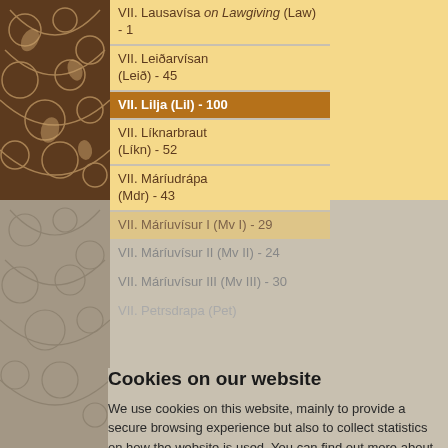VII. Lausavísa on Lawgiving (Law) - 1
VII. Leiðarvísan (Leið) - 45
VII. Lilja (Lil) - 100
VII. Líknarbraut (Líkn) - 52
VII. Máríudrápa (Mdr) - 43
VII. Máríuvísur I (Mv I) - 29
VII. Máríuvísur II (Mv II) - 24
VII. Máríuvísur III (Mv III) - 30
VII. Petrsdrapa (Pet)
VII. Vitnisvisur af Mártu (Vitn) - 26
Cookies on our website
We use cookies on this website, mainly to provide a secure browsing experience but also to collect statistics on how the website is used. You can find out more about the cookies we set, the information we store and how we use it on the cookies page.